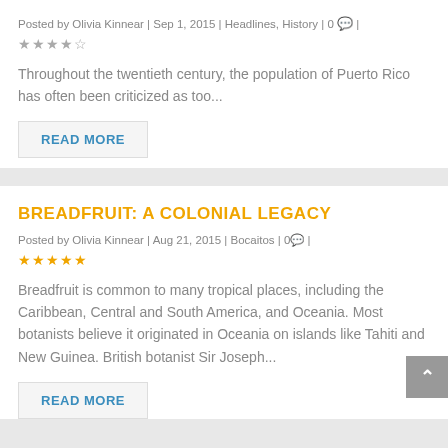Posted by Olivia Kinnear | Sep 1, 2015 | Headlines, History | 0 💬 | ★★★★½
Throughout the twentieth century, the population of Puerto Rico has often been criticized as too...
READ MORE
BREADFRUIT: A COLONIAL LEGACY
Posted by Olivia Kinnear | Aug 21, 2015 | Bocaitos | 0 💬 | ★★★★★
Breadfruit is common to many tropical places, including the Caribbean, Central and South America, and Oceania. Most botanists believe it originated in Oceania on islands like Tahiti and New Guinea. British botanist Sir Joseph...